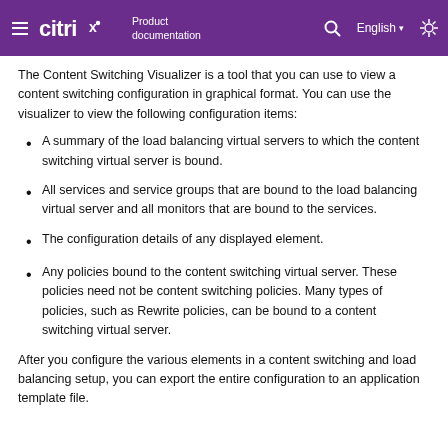citrix Product documentation | English
The Content Switching Visualizer is a tool that you can use to view a content switching configuration in graphical format. You can use the visualizer to view the following configuration items:
A summary of the load balancing virtual servers to which the content switching virtual server is bound.
All services and service groups that are bound to the load balancing virtual server and all monitors that are bound to the services.
The configuration details of any displayed element.
Any policies bound to the content switching virtual server. These policies need not be content switching policies. Many types of policies, such as Rewrite policies, can be bound to a content switching virtual server.
After you configure the various elements in a content switching and load balancing setup, you can export the entire configuration to an application template file.